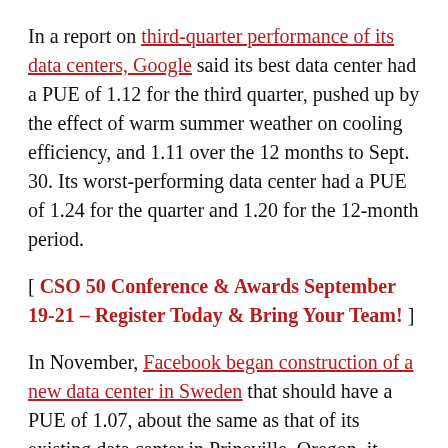In a report on third-quarter performance of its data centers, Google said its best data center had a PUE of 1.12 for the third quarter, pushed up by the effect of warm summer weather on cooling efficiency, and 1.11 over the 12 months to Sept. 30. Its worst-performing data center had a PUE of 1.24 for the quarter and 1.20 for the 12-month period.
[ CSO 50 Conference & Awards September 19-21 – Register Today & Bring Your Team! ]
In November, Facebook began construction of a new data center in Sweden that should have a PUE of 1.07, about the same as that of its existing data center in Prineville, Oregon, it said.